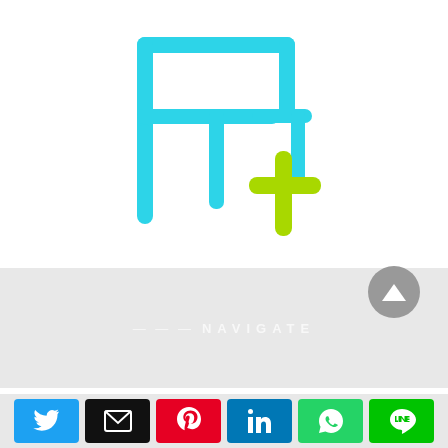[Figure (logo): App icon showing a desk/table and chair outline in cyan/blue with a green plus sign, suggesting a furniture or classroom management app]
--- NAVIGATE
[Figure (other): Gray circular scroll-to-top button with upward triangle arrow]
[Figure (other): Social sharing bar with 6 buttons: Twitter (blue), Email (black), Pinterest (red), LinkedIn (blue), WhatsApp (green), LINE (green)]